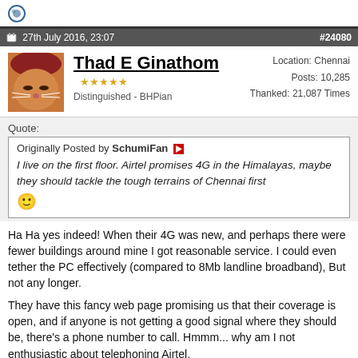27th July 2016, 23:07  #24080
Thad E Ginathom
Distinguished - BHPian
Location: Chennai
Posts: 10,285
Thanked: 21,087 Times
Quote:
Originally Posted by SchumiFan
I live on the first floor. Airtel promises 4G in the Himalayas, maybe they should tackle the tough terrains of Chennai first :)
Ha Ha yes indeed! When their 4G was new, and perhaps there were fewer buildings around mine I got reasonable service. I could even tether the PC effectively (compared to 8Mb landline broadband), But not any longer.

They have this fancy web page promising us that their coverage is open, and if anyone is not getting a good signal where they should be, there's a phone number to call. Hmmm... why am I not enthusiastic about telephoning Airtel.